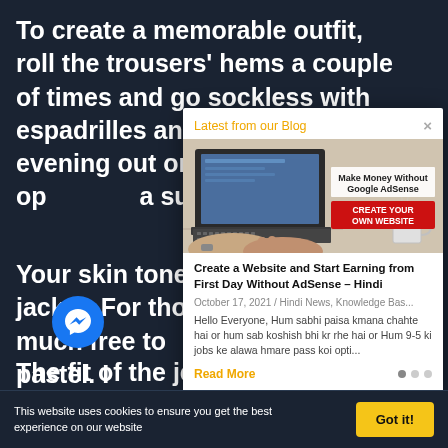To create a memorable outfit, roll the trousers' hems a couple of times and go sockless with espadrilles and a T-shirt for an evening out on holiday, or try an op... a summer wedding...
Your skin tone shou... jacket. For those w... pretty much free to... primary or pastel. N... it's best to opt for a... looking washed ou... blue.
The fit of the jeans... To maximise on sty... g... lim rather than skinny cuts and you'll nail
[Figure (screenshot): Blog popup modal titled 'Latest from our Blog' showing an article 'Create a Website and Start Earning from First Day Without AdSense – Hindi' with an image of hands on laptop, dated October 17, 2021, with excerpt in Hindi and a Read More link]
This website uses cookies to ensure you get the best experience on our website
Got it!